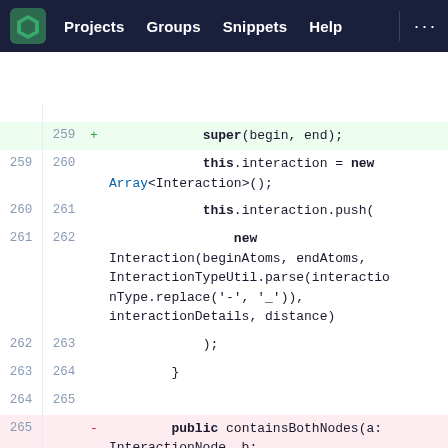Projects  Groups  Snippets  Help  ...
[Figure (screenshot): Code diff view showing TypeScript/JavaScript code lines 259-267 in a dark-themed IDE interface. Lines 265-267 are highlighted in red (removed), line 259 is highlighted in green (added). Code shows constructor with super call, interaction array, push with new Interaction object, and public containsBothNodes method.]